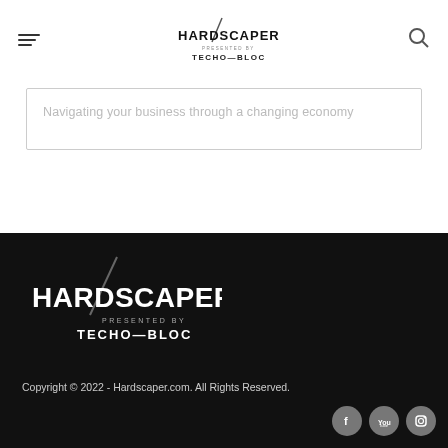HARDSCAPER presented by TECHO—BLOC
Navigating your business through a changing economy
[Figure (logo): Hardscaper presented by Techo-Bloc logo in white on dark background]
Copyright © 2022 - Hardscaper.com. All Rights Reserved.